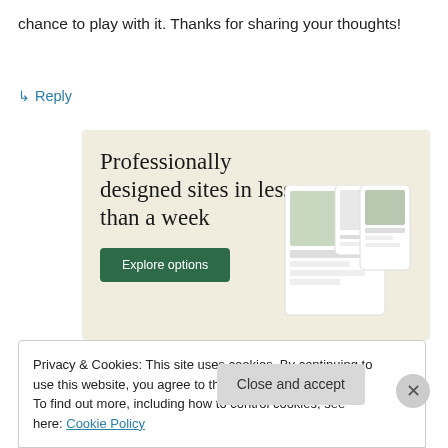chance to play with it. Thanks for sharing your thoughts!
↳ Reply
[Figure (infographic): Advertisement banner with beige background. Headline: 'Professionally designed sites in less than a week'. Green 'Explore options' button. Right side shows a mock screenshot of a website interface with images of food.]
Privacy & Cookies: This site uses cookies. By continuing to use this website, you agree to their use.
To find out more, including how to control cookies, see here: Cookie Policy
Close and accept